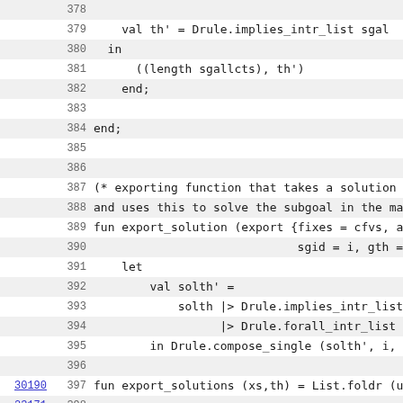Code listing lines 378-399, showing ML/functional programming code (SML/NJ style) with line numbers and alternating row highlights. Lines include val th', in, ((length sgallcts), th'), end;, end;, comments about exporting function, fun export_solution, let, val solth', solth |> Drule.implies_intr_list, |> Drule.forall_intr_list, in Drule.compose_single (solth', i, gth), fun export_solutions, and blank lines.